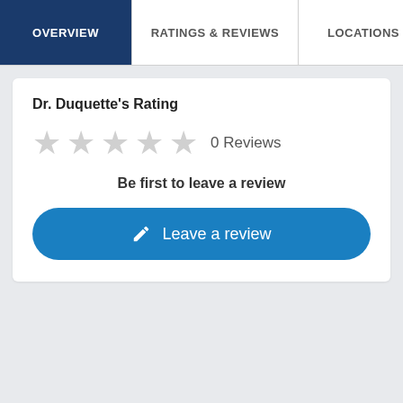OVERVIEW | RATINGS & REVIEWS | LOCATIONS | EX
Dr. Duquette's Rating
★★★★★ 0 Reviews
Be first to leave a review
✏ Leave a review